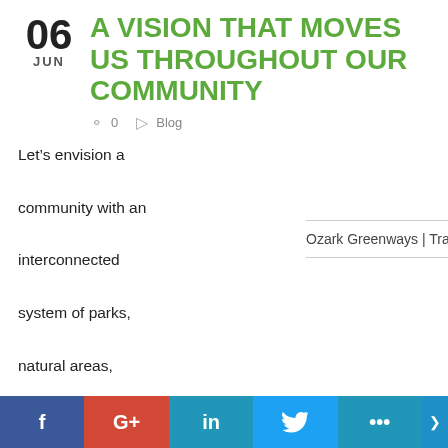06 JUN
A VISION THAT MOVES US THROUGHOUT OUR COMMUNITY
0   Blog
Let’s envision a community with an interconnected system of parks, natural areas, greenbelts, greenways and trails as part of the developing landscape in and around San Marcos. A system that would incorporate land that protects our natural resources with land that is often ignored, neglected and found
Ozark Greenways | Trails
f  G+  in  Twitter  ...